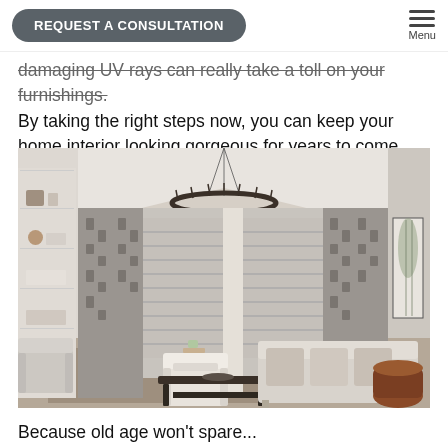REQUEST A CONSULTATION | Menu
damaging UV rays can really take a toll on your furnishings. By taking the right steps now, you can keep your home interior looking gorgeous for years to come.
[Figure (photo): Elegant living room interior with vaulted white ceiling, large circular chandelier, patterned gray window drapes over shuttered windows, cream sofas and armchairs, dark coffee table on a woven rug, and built-in white shelving.]
Because old age won't spare...